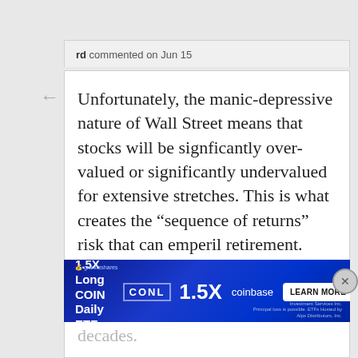rd commented on Jun 15
Unfortunately, the manic-depressive nature of Wall Street means that stocks will be signficantly over-valued or significantly undervalued for extensive stretches. This is what creates the “sequence of returns” risk that can emperil retirement. Ideally, you have a two decade period of undervaluation (say ’70s and ’80s) just before you retire and then a couple of decades of rising and extended high valuations after you retire (90s and 2000s). The reverse is not
[Figure (screenshot): Blue banner advertisement for GraniteShares 1.5X Long COIN Daily ETF featuring CONL ticker, 1.5X logo, coinbase branding and LEARN MORE button]
decades.